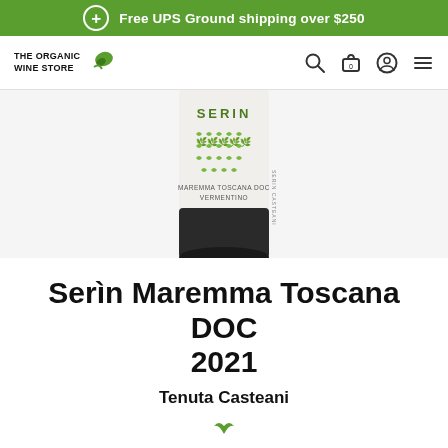Free UPS Ground shipping over $250
[Figure (logo): The Organic Wine Store logo with leaf icon, and navigation icons (search, cart, account, menu)]
[Figure (photo): Wine bottle showing the Serin Maremma Toscana DOC Vermentino label with green bird pattern, white label, dark bottom]
Serìn Maremma Toscana DOC 2021
Tenuta Casteani